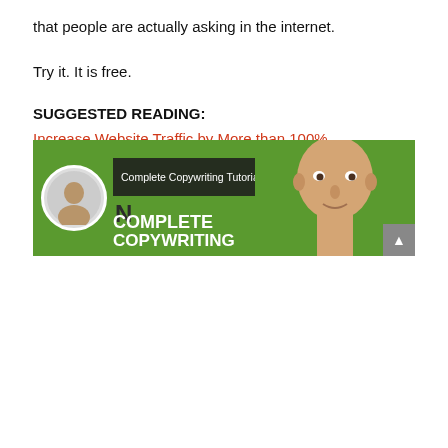that people are actually asking in the internet.
Try it. It is free.
SUGGESTED READING:
Increase Website Traffic by More than 100% – 17 Tips to Get Traffic and Earn More Money
WATCH: Complete SEO COpywriting Tutorial
[Figure (screenshot): YouTube video thumbnail for 'Complete Copywriting Tutorial' showing a bald man on green background with avatar circle and title bar overlay]